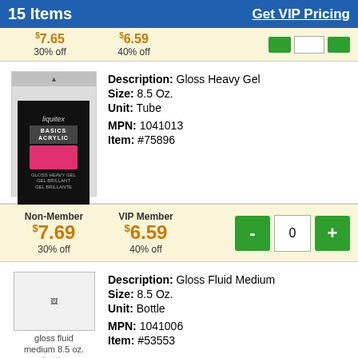15 Items    Get VIP Pricing
7.65  30% off    6.59  40% off
[Figure (screenshot): Product image of Liquitex Basics Acrylic tube]
Description: Gloss Heavy Gel
Size: 8.5 Oz.
Unit: Tube
MPN: 1041013
Item: #75896
Non-Member $7.69 30% off    VIP Member $6.59 40% off    - 0 +
Description: Gloss Fluid Medium
Size: 8.5 Oz.
Unit: Bottle
MPN: 1041006
Item: #53553
[Figure (photo): gloss fluid medium 8.5 oz. bottle]